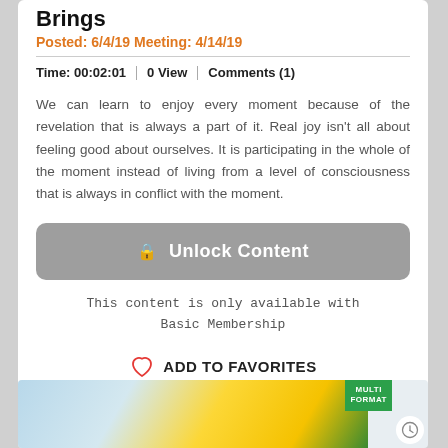Brings
Posted: 6/4/19 Meeting: 4/14/19
Time: 00:02:01 | 0 View | Comments (1)
We can learn to enjoy every moment because of the revelation that is always a part of it. Real joy isn't all about feeling good about ourselves. It is participating in the whole of the moment instead of living from a level of consciousness that is always in conflict with the moment.
🔒 Unlock Content
This content is only available with Basic Membership
ADD TO FAVORITES
[Figure (photo): Yellow sunflower photo with blue sky background, partially visible at the bottom of the page. A green 'MULTI FORMAT' badge is visible in the top right corner of the image area, along with a clock/time icon in a white circle.]